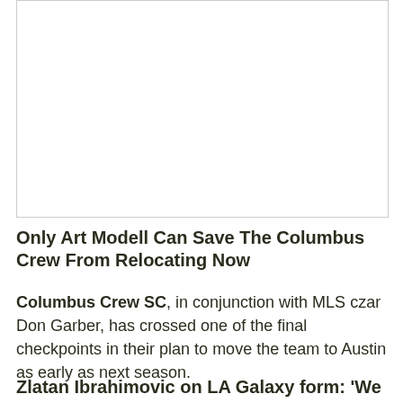[Figure (photo): Image placeholder area at top of article]
Only Art Modell Can Save The Columbus Crew From Relocating Now
Columbus Crew SC, in conjunction with MLS czar Don Garber, has crossed one of the final checkpoints in their plan to move the team to Austin as early as next season.
Zlatan Ibrahimovic on LA Galaxy form: 'We don't